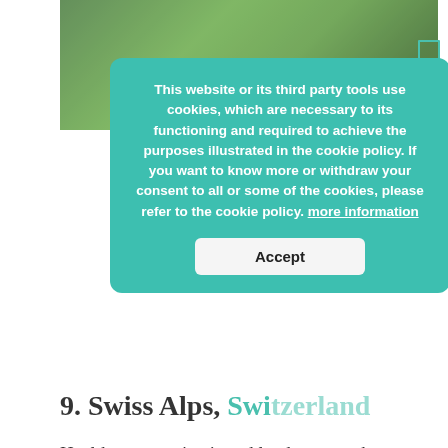[Figure (photo): Greenery / mountain landscape background image at the top of the page]
9. Swiss Alps, Switzerland
Healthy mountain air and landscape make your stay at one of the yoga resorts much more pleasant. In the Swiss Alps, you can try out relaxing and reflective yoga, meditation, Bhakti yoga, Hatha yoga and much more! Hiking through the mountains will complete your process of rejuvenation and ensure you have a good night sleep. Pick through some of the best retreats, based on your preferences. Hatha Yoga Retreat is
This website or its third party tools use cookies, which are necessary to its functioning and required to achieve the purposes illustrated in the cookie policy. If you want to know more or withdraw your consent to all or some of the cookies, please refer to the cookie policy. more information
Accept